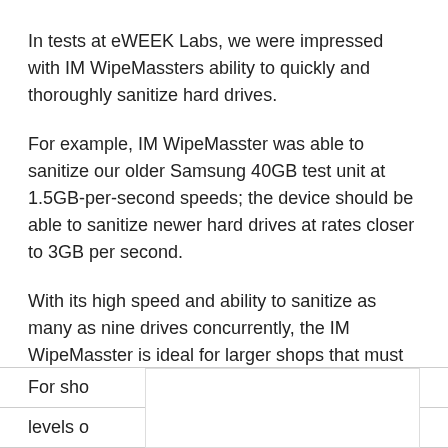In tests at eWEEK Labs, we were impressed with IM WipeMassters ability to quickly and thoroughly sanitize hard drives.
For example, IM WipeMasster was able to sanitize our older Samsung 40GB test unit at 1.5GB-per-second speeds; the device should be able to sanitize newer hard drives at rates closer to 3GB per second.
With its high speed and ability to sanitize as many as nine drives concurrently, the IM WipeMasster is ideal for larger shops that must periodically return leased machines to manufacturers.
For sho…× 2
levels o… DoD